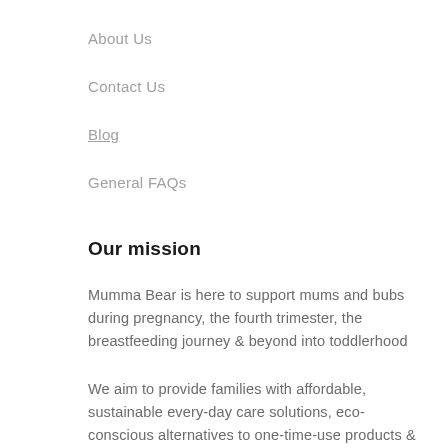About Us
Contact Us
Blog
General FAQs
Our mission
Mumma Bear is here to support mums and bubs during pregnancy, the fourth trimester, the breastfeeding journey & beyond into toddlerhood
We aim to provide families with affordable, sustainable every-day care solutions, eco-conscious alternatives to one-time-use products & natural self